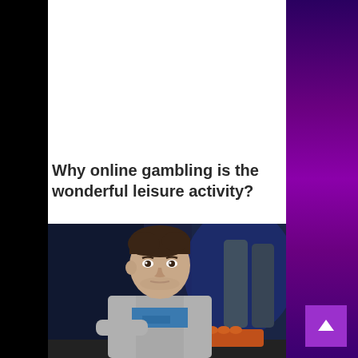[Figure (photo): Interior of a casino sportsbook with people standing at a bar/counter, multiple screens on the walls showing sports/odds boards, and tablet screens on the gaming tables in the foreground.]
Why online gambling is the wonderful leisure activity?
[Figure (photo): A young man with dark hair wearing a grey and blue hoodie, seated at a poker table, looking forward with a serious expression. Orange poker chips visible in the foreground, blue-lit background.]